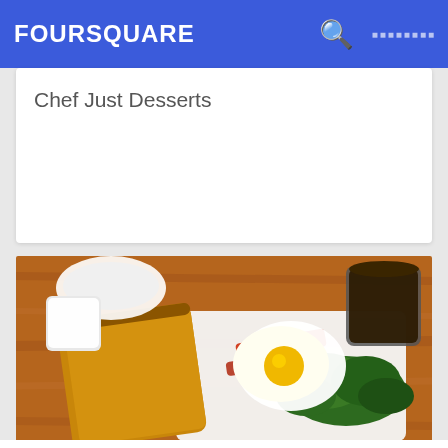FOURSQUARE
Chef Just Desserts
[Figure (photo): Overhead photo of a breakfast plate with fried egg, bacon, toast, and sautéed greens, with a cup of coffee and a bowl in background, on a wooden table]
183. Northern Spy Food Co.
511 E 12th St (btwn Avenue A & B), [redacted], NY
[redacted] · Alphabet City · 317 [redacted]